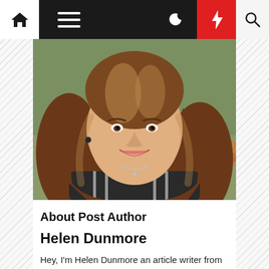Navigation bar with home, menu, moon, lightning, and search icons
[Figure (photo): Portrait photo of Helen Dunmore, a woman with long wavy highlighted brown hair, smiling, wearing a striped top, seated outdoors near a bench with grass in background.]
About Post Author
Helen Dunmore
Hey, I'm Helen Dunmore an article writer from London Ontario, Canada. I had done a